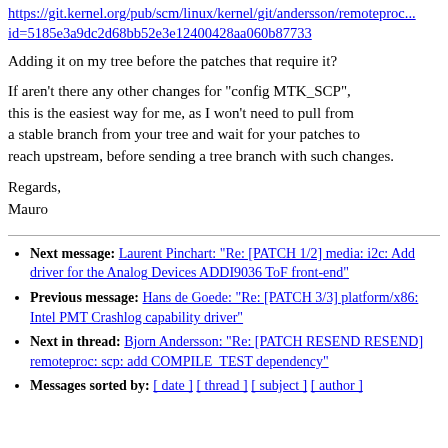https://git.kernel.org/pub/scm/linux/kernel/git/andersson/remoteproc... id=5185e3a9dc2d68bb52e3e12400428aa060b87733
Adding it on my tree before the patches that require it?
If aren't there any other changes for "config MTK_SCP", this is the easiest way for me, as I won't need to pull from a stable branch from your tree and wait for your patches to reach upstream, before sending a tree branch with such changes.
Regards,
Mauro
Next message: Laurent Pinchart: "Re: [PATCH 1/2] media: i2c: Add driver for the Analog Devices ADDI9036 ToF front-end"
Previous message: Hans de Goede: "Re: [PATCH 3/3] platform/x86: Intel PMT Crashlog capability driver"
Next in thread: Bjorn Andersson: "Re: [PATCH RESEND RESEND] remoteproc: scp: add COMPILE_TEST dependency"
Messages sorted by: [ date ] [ thread ] [ subject ] [ author ]